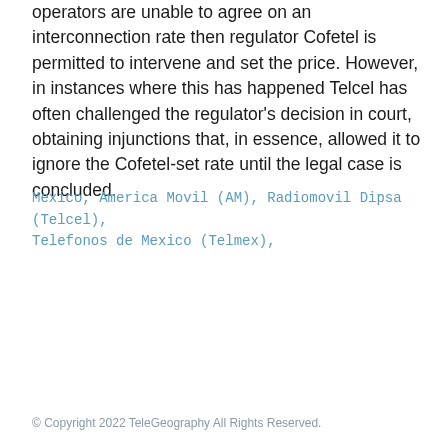operators are unable to agree on an interconnection rate then regulator Cofetel is permitted to intervene and set the price. However, in instances where this has happened Telcel has often challenged the regulator's decision in court, obtaining injunctions that, in essence, allowed it to ignore the Cofetel-set rate until the legal case is concluded.
Mexico, America Movil (AM), Radiomovil Dipsa (Telcel), Telefonos de Mexico (Telmex),
© Copyright 2022 TeleGeography All Rights Reserved.